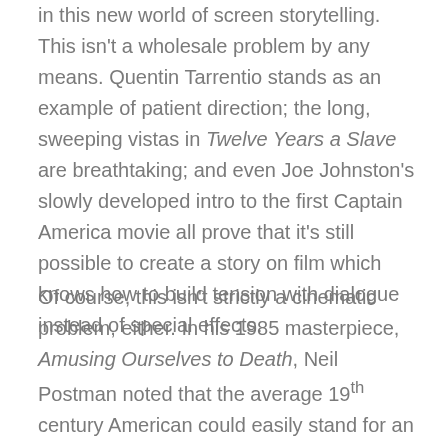in this new world of screen storytelling. This isn't a wholesale problem by any means. Quentin Tarrentio stands as an example of patient direction; the long, sweeping vistas in Twelve Years a Slave are breathtaking; and even Joe Johnston's slowly developed intro to the first Captain America movie all prove that it's still possible to create a story on film which knows how to build tension with dialogue instead of special effects.
Of course, this isn't strictly a cinematic problem, either. In his 1985 masterpiece, Amusing Ourselves to Death, Neil Postman noted that the average 19th century American could easily stand for an entire day and listen for hours at time to the speeches and exhortations of politicians, rhetoricians, and leading thinkers. If Donald